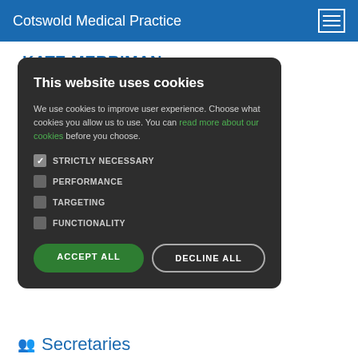Cotswold Medical Practice
KATE MERRIMAN
[Figure (screenshot): Cookie consent modal dialog with dark background. Contains title 'This website uses cookies', body text about cookie usage with a green link 'read more about our cookies', four checkboxes for STRICTLY NECESSARY (checked), PERFORMANCE, TARGETING, FUNCTIONALITY, and two buttons: ACCEPT ALL (green) and DECLINE ALL (outlined).]
Secretaries